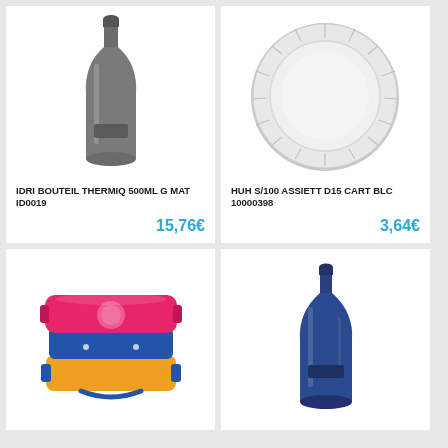[Figure (photo): Gray metallic insulated thermos bottle 500ml]
IDRI BOUTEIL THERMIQ 500ML G MAT ID0019
15,76€
[Figure (photo): White cardboard/paper plate, round, ribbed rim]
HUH S/100 ASSIETT D15 CART BLC 10000398
3,64€
[Figure (photo): Colorful lunch box / bento box with pink, blue and yellow/orange layers]
[Figure (photo): Dark blue metallic insulated thermos bottle]